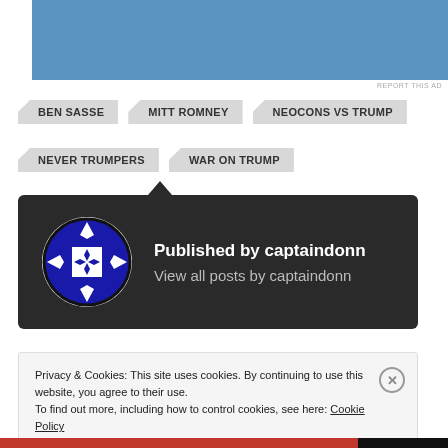[Figure (other): Blue advertisement banner at top of page]
REPORT THIS AD
BEN SASSE
MITT ROMNEY
NEOCONS VS TRUMP
NEVER TRUMPERS
WAR ON TRUMP
[Figure (other): Author card with avatar icon. Published by captaindonn. View all posts by captaindonn.]
Privacy & Cookies: This site uses cookies. By continuing to use this website, you agree to their use.
To find out more, including how to control cookies, see here: Cookie Policy
Close and accept